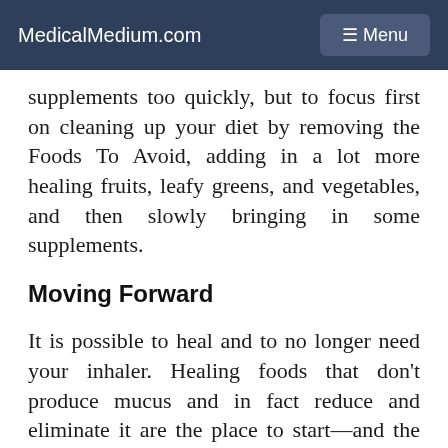MedicalMedium.com  ☰ Menu
supplements too quickly, but to focus first on cleaning up your diet by removing the Foods To Avoid, adding in a lot more healing fruits, leafy greens, and vegetables, and then slowly bringing in some supplements.
Moving Forward
It is possible to heal and to no longer need your inhaler. Healing foods that don't produce mucus and in fact reduce and eliminate it are the place to start—and the key is consistency.